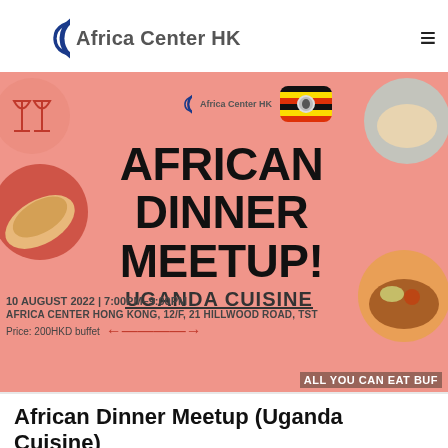[Figure (logo): Africa Center HK logo with blue C arc and hamburger menu icon]
[Figure (infographic): African Dinner Meetup promotional banner with salmon/pink background. Shows Africa Center HK logo, Uganda flag, text 'AFRICAN DINNER MEETUP! UGANDA CUISINE', date '10 AUGUST 2022 | 7:00PM-9:00PM', venue 'AFRICA CENTER HONG KONG, 12/F, 21 HILLWOOD ROAD, TST', price '200HKD buffet', 'ALL YOU CAN EAT BUFFET'. Decorated with food photos at corners.]
African Dinner Meetup (Uganda Cuisine)